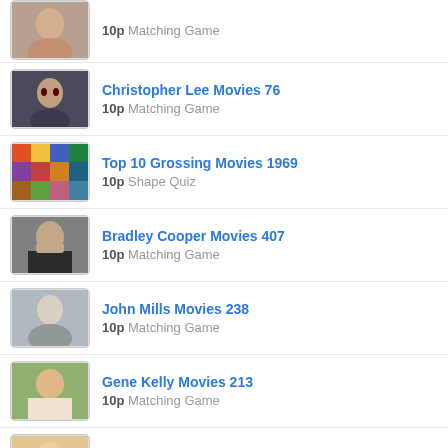10p Matching Game
Christopher Lee Movies 76 — 10p Matching Game
Top 10 Grossing Movies 1969 — 10p Shape Quiz
Bradley Cooper Movies 407 — 10p Matching Game
John Mills Movies 238 — 10p Matching Game
Gene Kelly Movies 213 — 10p Matching Game
Melanie Griffith Movies 304 — 10p Matching Game